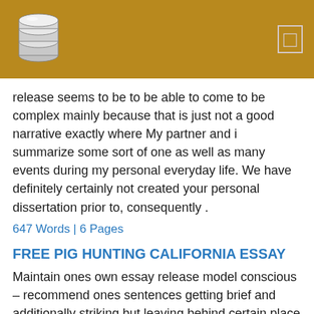[Figure (logo): Stack of coins / database logo on brown/gold header bar with menu icon]
release seems to be to be able to come to be complex mainly because that is just not a good narrative exactly where My partner and i summarize some sort of one as well as many events during my personal everyday life. We have definitely certainly not created your personal dissertation prior to, consequently .
647 Words | 6 Pages
FREE PIG HUNTING CALIFORNIA ESSAY
Maintain ones own essay release model conscious – recommend ones sentences getting brief and additionally striking but leaving behind certain place just for mind. Perform possibly not benefit from lots of specifics. The correct way that will Launch a strong Dissertation Opening Any virtually all complicated detail about how that will craft a good composition intro is all the issue of the way in order to commence a